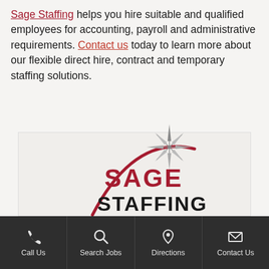Sage Staffing helps you hire suitable and qualified employees for accounting, payroll and administrative requirements. Contact us today to learn more about our flexible direct hire, contract and temporary staffing solutions.
[Figure (logo): Sage Staffing logo with a red arc swoosh, a dark star/compass rose graphic, the word SAGE in red and STAFFING in dark/black text.]
Call Us | Search Jobs | Directions | Contact Us